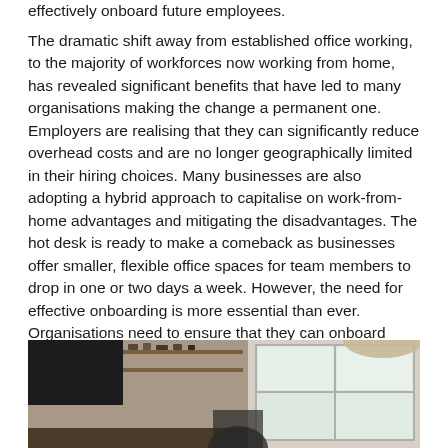effectively onboard future employees.
The dramatic shift away from established office working, to the majority of workforces now working from home, has revealed significant benefits that have led to many organisations making the change a permanent one.  Employers are realising that they can significantly reduce overhead costs and are no longer geographically limited in their hiring choices. Many businesses are also adopting a hybrid approach to capitalise on work-from-home advantages and mitigating the disadvantages. The hot desk is ready to make a comeback as businesses offer smaller, flexible office spaces for team members to drop in one or two days a week. However, the need for effective onboarding is more essential than ever. Organisations need to ensure that they can onboard future employees seamlessly.
[Figure (photo): A photo showing a kitchen/home office setting with dark appliances and shelving on the left side, and a bright window on the right side.]